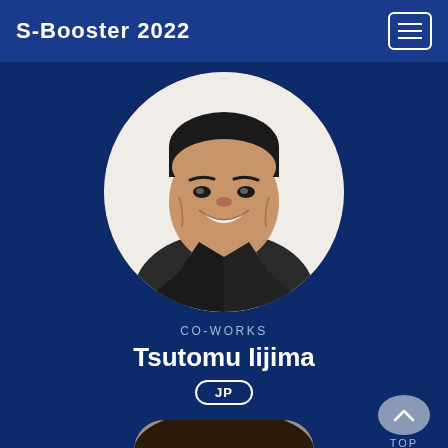S-Booster 2022
[Figure (photo): Circular portrait photo of Tsutomu Iijima, a middle-aged Japanese man smiling, wearing a dark blazer over a white shirt, against a white background.]
CO-WORKS
Tsutomu Iijima
JP
[Figure (photo): Partial circular portrait photo of another person, only top of head visible at bottom of page.]
TOP